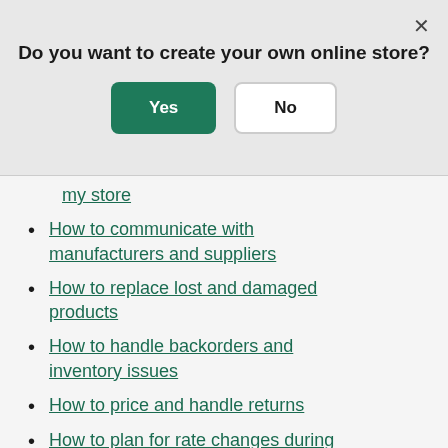Do you want to create your own online store?
Yes | No (buttons)
my store
How to communicate with manufacturers and suppliers
How to replace lost and damaged products
How to handle backorders and inventory issues
How to price and handle returns
How to plan for rate changes during the holiday rush
Planning ahead saves you time and stress